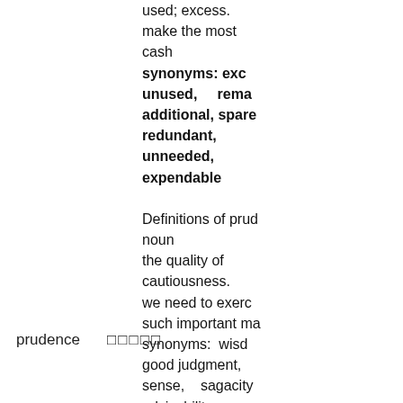used; excess. make the most cash synonyms: excess, unused, remaining, additional, spare, redundant, unneeded, expendable
Definitions of prudence noun the quality of cautiousness. we need to exercise such important matters synonyms: wisdom, good judgment, common sense, sagacity advisability; care, providence, foresight,
prudence  0 0 0 0 0